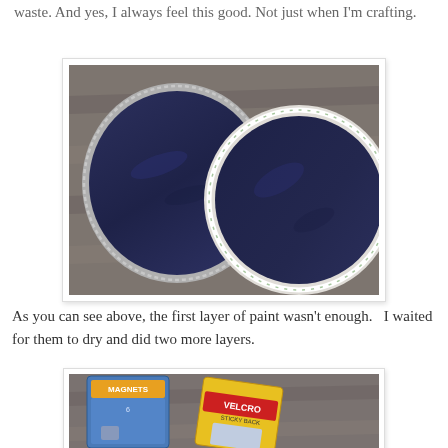waste. And yes, I always feel this good. Not just when I'm crafting.
[Figure (photo): Two pie tins painted with dark navy/blue paint on a wooden deck surface. Left tin is plain aluminum with beaded rim, right tin has a decorative painted white rim with floral pattern. Both show brush strokes in the dark blue paint.]
As you can see above, the first layer of paint wasn't enough. I waited for them to dry and did two more layers.
[Figure (photo): Two product packages on a wooden surface: a blue package of magnets (labeled MAGNETS with 6 magnets shown) and a yellow/blue package of Velcro Sticky Back.]